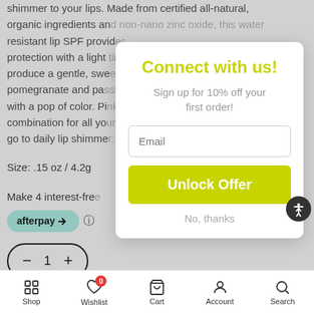shimmer to your lips. Made from certified all-natural, organic ingredients and non-nano zinc oxide, this water resistant lip SPF provides protection with a light tint to produce a gentle, sweet pomegranate and passion fruit with a pop of color. Pink Shimmer is the perfect combination for all your outdoor adventures, go to daily lip shimmer.
Size: .15 oz / 4.2g
Make 4 interest-free
[Figure (logo): Afterpay logo badge with teal background and arrow icon]
[Figure (infographic): Quantity selector showing minus button, 1, and plus button in pill-shaped border]
[Figure (infographic): Connect with us modal popup with email signup form, Unlock Offer button, and No thanks link]
Shop  Wishlist  Cart  Account  Search